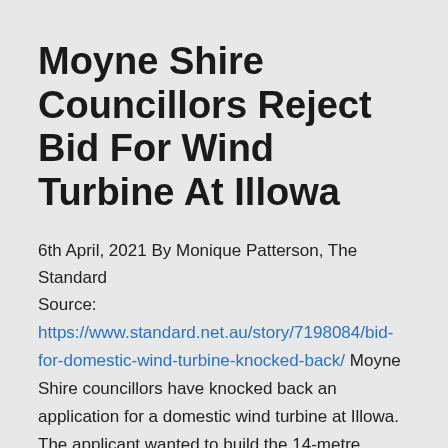Moyne Shire Councillors Reject Bid For Wind Turbine At Illowa
6th April, 2021 By Monique Patterson, The Standard Source: https://www.standard.net.au/story/7198084/bid-for-domestic-wind-turbine-knocked-back/ Moyne Shire councillors have knocked back an application for a domestic wind turbine at Illowa. The applicant wanted to build the 14-metre structure at 81 Douglas Lane. Council officers recommended approving the application but Cr Jim Doukas put forward an